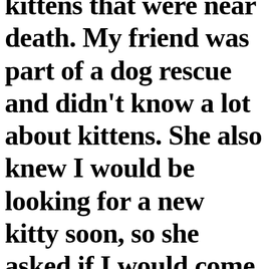kittens that were near death. My friend was part of a dog rescue and didn't know a lot about kittens. She also knew I would be looking for a new kitty soon, so she asked if I would come take a look at the kittens